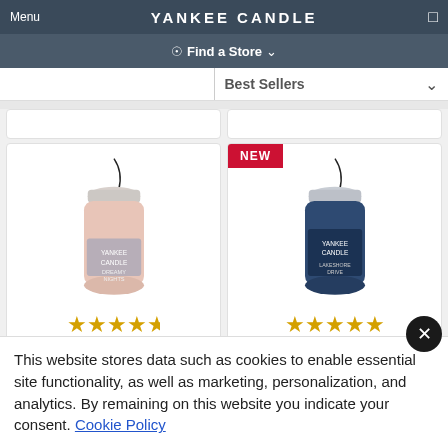Menu | YANKEE CANDLE
Find a Store
[Figure (screenshot): Yankee Candle product listing page screenshot showing two car jar air freshener products with star ratings. Left product is pink/rose colored, right product has a NEW badge and is dark blue colored. Both have hanging loops.]
This website stores data such as cookies to enable essential site functionality, as well as marketing, personalization, and analytics. By remaining on this website you indicate your consent. Cookie Policy